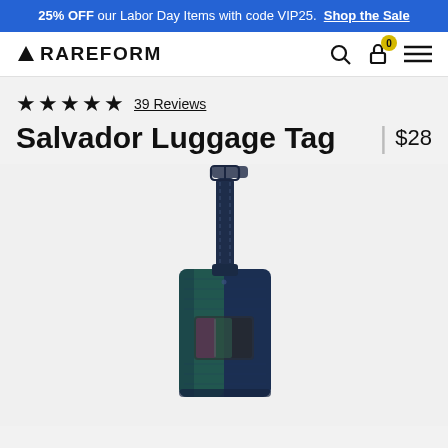25% OFF our Labor Day Items with code VIP25. Shop the Sale
RAREFORM
★★★★★ 39 Reviews
Salvador Luggage Tag | $28
[Figure (photo): A navy blue leather luggage tag with a strap and buckle, shown against a light grey background. The tag has a transparent ID window on the front.]